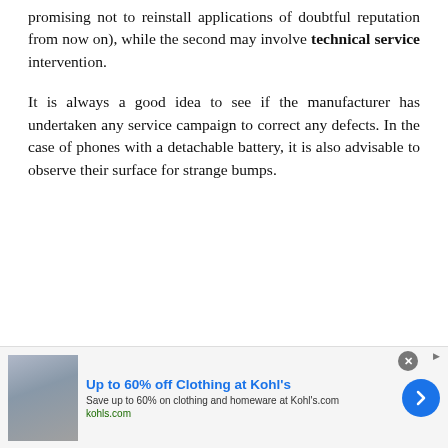promising not to reinstall applications of doubtful reputation from now on), while the second may involve technical service intervention.
It is always a good idea to see if the manufacturer has undertaken any service campaign to correct any defects. In the case of phones with a detachable battery, it is also advisable to observe their surface for strange bumps.
Applications that hang at startup
[Figure (other): Advertisement banner for Kohl's: 'Up to 60% off Clothing at Kohl's' with image of people and arrow button]